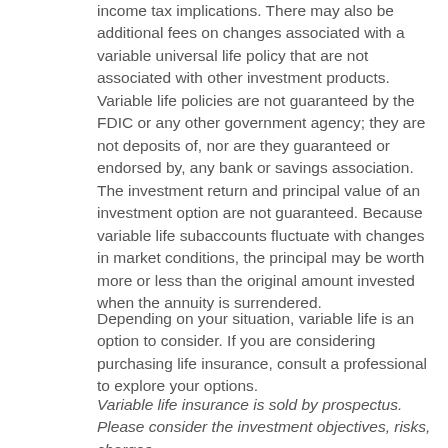income tax implications. There may also be additional fees on changes associated with a variable universal life policy that are not associated with other investment products. Variable life policies are not guaranteed by the FDIC or any other government agency; they are not deposits of, nor are they guaranteed or endorsed by, any bank or savings association. The investment return and principal value of an investment option are not guaranteed. Because variable life subaccounts fluctuate with changes in market conditions, the principal may be worth more or less than the original amount invested when the annuity is surrendered.
Depending on your situation, variable life is an option to consider. If you are considering purchasing life insurance, consult a professional to explore your options.
Variable life insurance is sold by prospectus. Please consider the investment objectives, risks, charges,